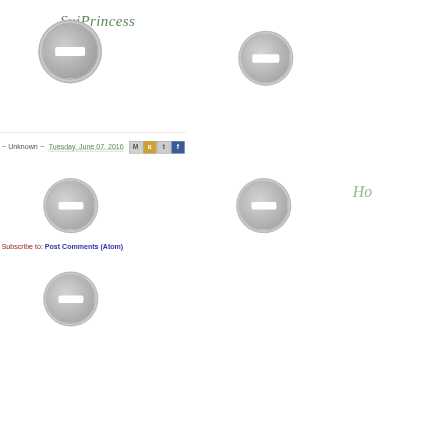SuiPrincess
[Figure (illustration): Decorative circular badge/button graphics — two large grey circles with white horizontal bars, part of a blog header design]
~ Unknown ~ Tuesday, June 07, 2016
[Figure (illustration): Share icon buttons: Mail (M), Blogger (B), Twitter (t), Facebook (f)]
[Figure (illustration): Two medium grey circles with white horizontal bars, decorative navigation elements]
[Figure (illustration): Partial script text showing 'Ho' in green italic, likely 'Home']
Subscribe to: Post Comments (Atom)
[Figure (illustration): Partial grey circle at bottom of page, decorative element]